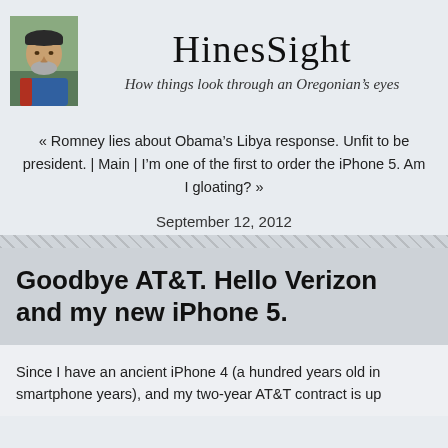[Figure (photo): Headshot photo of a middle-aged man wearing a dark cap and blue jacket, with grey beard, outdoors.]
HinesSight
How things look through an Oregonian's eyes
« Romney lies about Obama's Libya response. Unfit to be president. | Main | I'm one of the first to order the iPhone 5. Am I gloating? »
September 12, 2012
Goodbye AT&T. Hello Verizon and my new iPhone 5.
Since I have an ancient iPhone 4 (a hundred years old in smartphone years), and my two-year AT&T contract is up